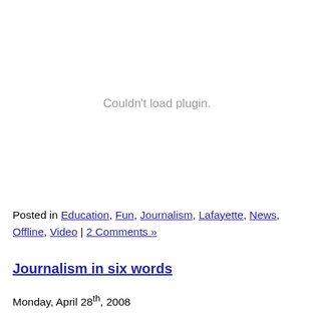[Figure (other): Plugin embed area displaying 'Couldn't load plugin.' error message in gray text]
Posted in Education, Fun, Journalism, Lafayette, News, Offline, Video | 2 Comments »
Journalism in six words
Monday, April 28th, 2008